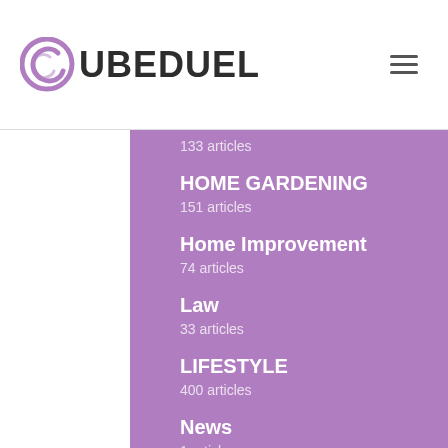[Figure (logo): Cubeduel logo with purple C icon and bold dark text UBEDUEL]
133 articles
HOME GARDENING
151 articles
Home Improvement
74 articles
Law
33 articles
LIFESTYLE
400 articles
News
1 articles
OUTDOOR
29 articles